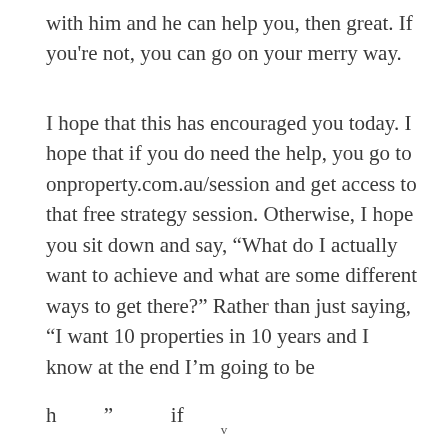with him and he can help you, then great. If you're not, you can go on your merry way.
I hope that this has encouraged you today. I hope that if you do need the help, you go to onproperty.com.au/session and get access to that free strategy session. Otherwise, I hope you sit down and say, “What do I actually want to achieve and what are some different ways to get there?” Rather than just saying, “I want 10 properties in 10 years and I know at the end I’m going to be
v